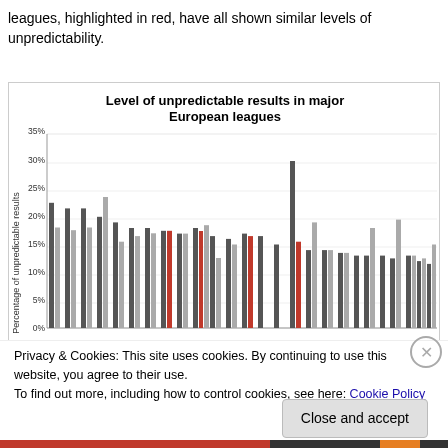leagues, highlighted in red, have all shown similar levels of unpredictability.
[Figure (bar-chart): Level of unpredictable results in major European leagues]
Privacy & Cookies: This site uses cookies. By continuing to use this website, you agree to their use.
To find out more, including how to control cookies, see here: Cookie Policy